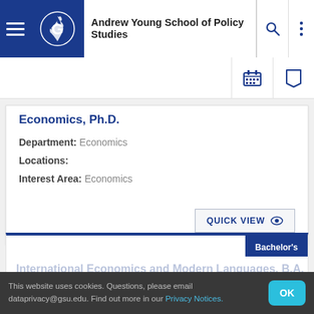Andrew Young School of Policy Studies
Economics, Ph.D.
Department: Economics
Locations:
Interest Area: Economics
QUICK VIEW
Bachelor's
International Economics and Modern Languages, B.A.
This website uses cookies. Questions, please email dataprivacy@gsu.edu. Find out more in our Privacy Notices.